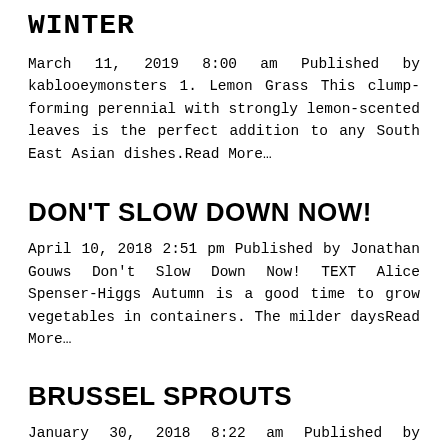WINTER
March 11, 2019 8:00 am Published by kablooeymonsters 1. Lemon Grass This clump-forming perennial with strongly lemon-scented leaves is the perfect addition to any South East Asian dishes.Read More…
DON'T SLOW DOWN NOW!
April 10, 2018 2:51 pm Published by Jonathan Gouws Don't Slow Down Now! TEXT Alice Spenser-Higgs Autumn is a good time to grow vegetables in containers. The milder daysRead More…
BRUSSEL SPROUTS
January 30, 2018 8:22 am Published by kablooeymonsters